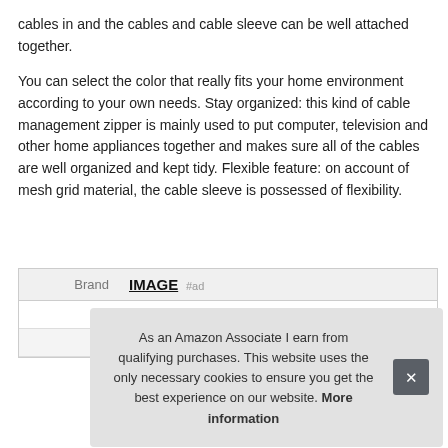cables in and the cables and cable sleeve can be well attached together.

You can select the color that really fits your home environment according to your own needs. Stay organized: this kind of cable management zipper is mainly used to put computer, television and other home appliances together and makes sure all of the cables are well organized and kept tidy. Flexible feature: on account of mesh grid material, the cable sleeve is possessed of flexibility.
| Brand | IMAGE #ad |
| --- | --- |
| Ma |  |
| P |  |
As an Amazon Associate I earn from qualifying purchases. This website uses the only necessary cookies to ensure you get the best experience on our website. More information